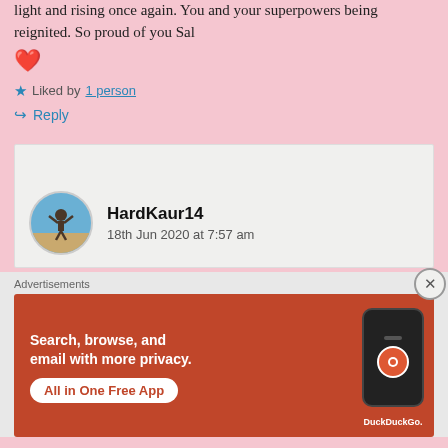light and rising once again. You and your superpowers being reignited. So proud of you Sal ❤️
Liked by 1 person
Reply
HardKaur14
18th Jun 2020 at 7:57 am
[Figure (infographic): DuckDuckGo advertisement banner: 'Search, browse, and email with more privacy. All in One Free App' with phone mockup and DuckDuckGo logo]